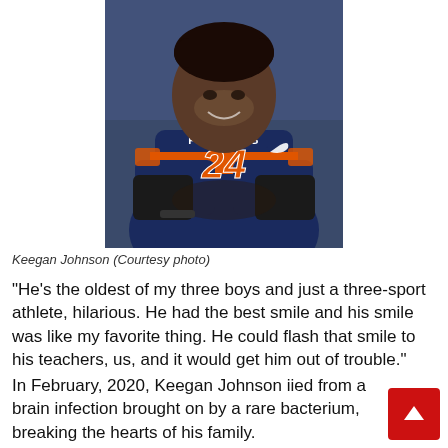[Figure (photo): Young man in navy blue Panthers football jersey number 24 with orange accents, arms crossed, smiling]
Keegan Johnson (Courtesy photo)
“He’s the oldest of my three boys and just a three-sport athlete, hilarious. He had the best smile and his smile was like my favorite thing. He could flash that smile to his teachers, us, and it would get him out of trouble.”
In February, 2020, Keegan Johnson iied from a brain infection brought on by a rare bacterium, breaking the hearts of his family.